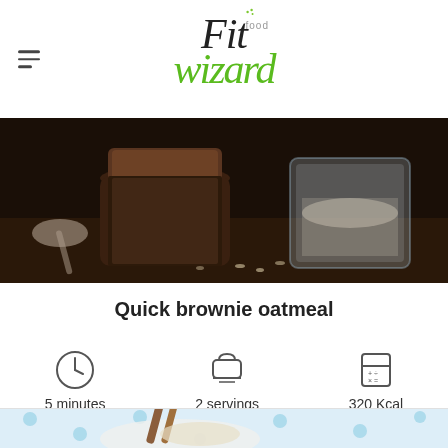Fit food wizard logo with hamburger menu
[Figure (photo): Dark moody photo of chocolate chia seeds or brownie oatmeal in a glass jar on a wooden table, with another glass jar of oats in the background]
Quick brownie oatmeal
5 minutes
2 servings
320 Kcal
[Figure (photo): Bowl of oatmeal topped with cinnamon sticks and cherries on a white and blue polka dot surface]